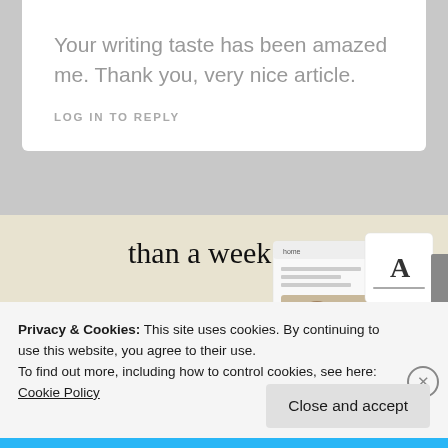Your writing taste has been amazed me. Thank you, very nice article.
LOG IN TO REPLY
[Figure (screenshot): Advertisement banner with text 'than a week', a green 'Explore options' button, and a screenshot of a website/app on a phone showing food images and an 'A' logo card.]
Privacy & Cookies: This site uses cookies. By continuing to use this website, you agree to their use.
To find out more, including how to control cookies, see here: Cookie Policy
Close and accept